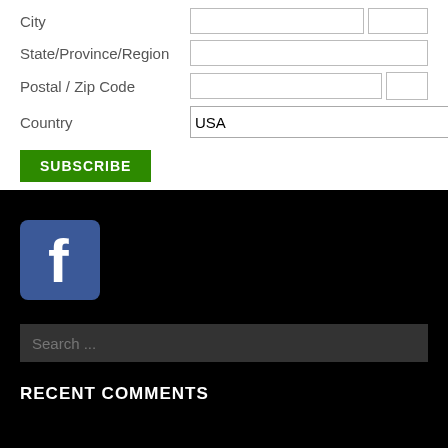City
State/Province/Region
Postal / Zip Code
Country
USA
SUBSCRIBE
[Figure (logo): Facebook logo icon — blue square with white lowercase f]
Search ...
RECENT COMMENTS